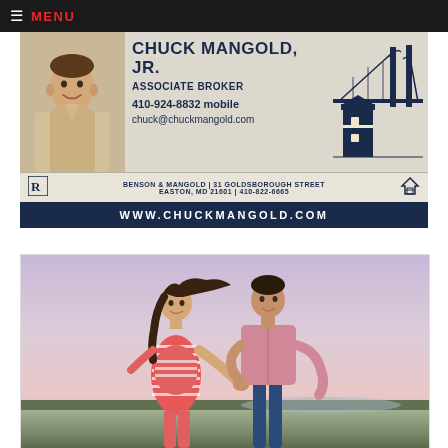≡ MENU
[Figure (illustration): Real estate agent advertisement banner for Chuck Mangold Jr., Associate Broker. Shows a professional headshot of a man in a suit with a purple tie, a lighthouse/bridge illustration, contact info (410-924-8832 mobile, chuck@chuckmangold.com), office info (Benson & Mangold, 31 Goldsborough Street, Easton, MD 21601, 410-822-6665), and website www.chuckmangold.com on a dark navy banner.]
[Figure (photo): Outdoor photo of a couple holding hands at sunset or dusk near water. A pregnant woman in a red and white striped dress and a man in a pink button-down shirt and jeans are walking together. Her hair is blowing in the wind.]